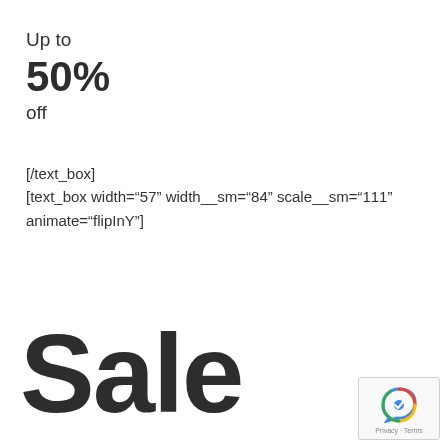Up to
50%
off
[/text_box]
[text_box width="57" width__sm="84" scale__sm="111"
animate="flipInY"]
Sale
[Figure (logo): reCAPTCHA badge with Privacy and Terms links]